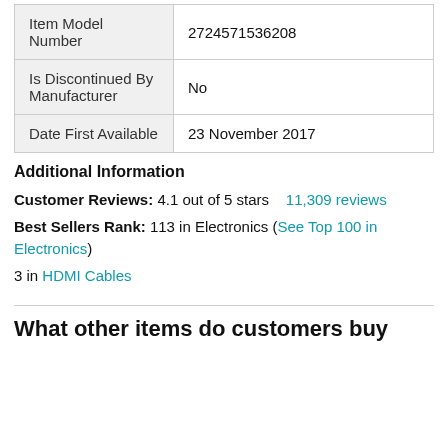| Field | Value |
| --- | --- |
| Item Model Number | 2724571536208 |
| Is Discontinued By Manufacturer | No |
| Date First Available | 23 November 2017 |
Additional Information
Customer Reviews: 4.1 out of 5 stars   11,309 reviews
Best Sellers Rank: 113 in Electronics (See Top 100 in Electronics)
3 in HDMI Cables
What other items do customers buy